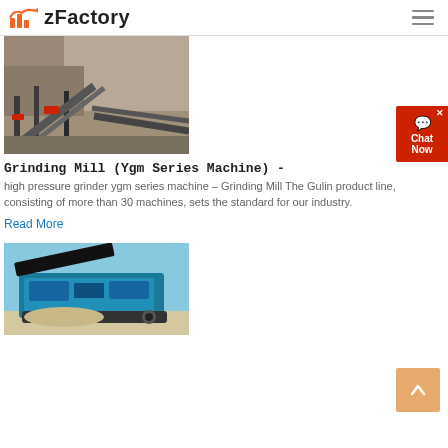zFactory
[Figure (photo): Industrial grinding/conveyor machinery at a quarry or mining site, with rocky cliff face in background, consisting of conveyor belts and metal structures.]
Grinding Mill (Ygm Series Machine) -
high pressure grinder ygm series machine – Grinding Mill The Gulin product line, consisting of more than 30 machines, sets the standard for our industry.
Read More
[Figure (photo): Blue mobile crushing/screening machine parked on sandy/gravel ground with blue sky in background.]